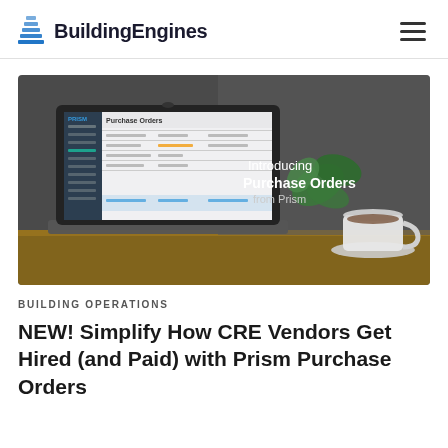BuildingEngines
[Figure (screenshot): Hero image showing a laptop displaying the Prism purchase orders interface with text overlay 'Introducing Purchase Orders from Prism', alongside a coffee cup and plant on a wooden table with dark background]
BUILDING OPERATIONS
NEW! Simplify How CRE Vendors Get Hired (and Paid) with Prism Purchase Orders